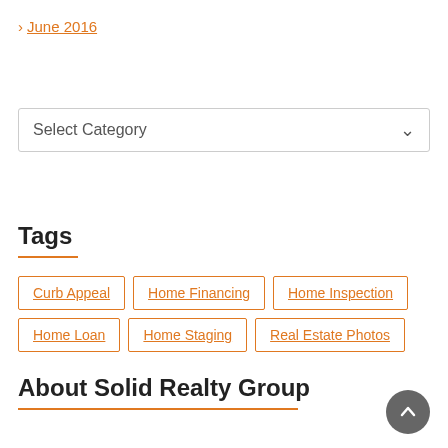› June 2016
Select Category
Tags
Curb Appeal
Home Financing
Home Inspection
Home Loan
Home Staging
Real Estate Photos
About Solid Realty Group